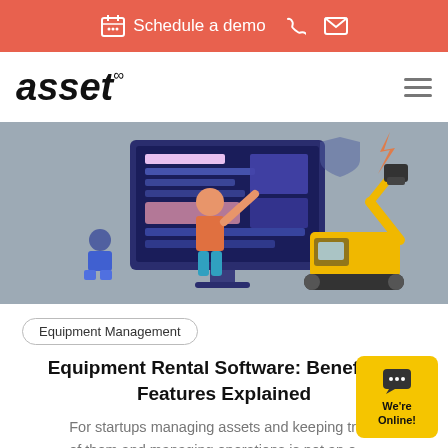Schedule a demo
[Figure (logo): asset infinity logo in bold italic font]
[Figure (illustration): Hero illustration showing a person pointing at a large monitor screen with software interface, alongside a yellow excavator/construction equipment, on a grey background]
Equipment Management
Equipment Rental Software: Benefits & Features Explained
For startups managing assets and keeping track of them and managing operations is not an easy task. Keeping track of assets is important for both the ...